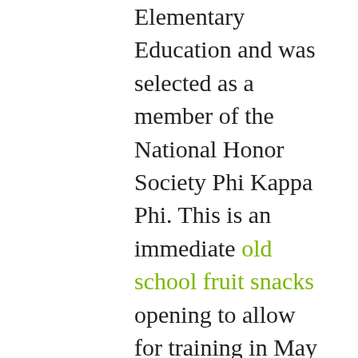Elementary Education and was selected as a member of the National Honor Society Phi Kappa Phi. This is an immediate old school fruit snacks opening to allow for training in May and June 2022. In keeping with the character of the rest of the Eastern Fells, Fairfield is characterised by gradually sweeping, grassy ridges to the south and west, and dramatic walls of crag where magnificent buttresses are riven by deep gullies to the east. When young learners see education as a place to experiment, create, construct, and connect, they develop a more expansive mindset about what “school” can offer them. It was a great day of Native American themed activities and the students love learning about another